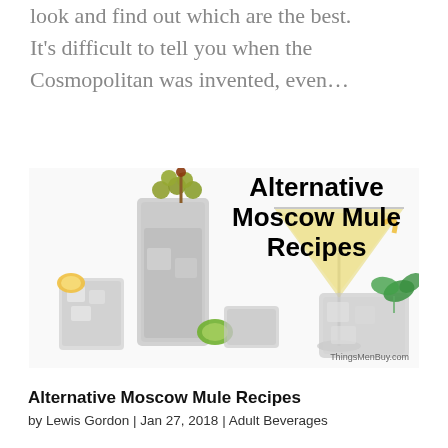look and find out which are the best. It's difficult to tell you when the Cosmopolitan was invented, even…
[Figure (photo): Several cocktail glasses with various drinks including a martini glass with yellow drink and garnish, tall glasses with ice and fruit garnishes, against white background. Text overlay reads 'Alternative Moscow Mule Recipes'. Watermark: ThingsmenBuy.com]
Alternative Moscow Mule Recipes
by Lewis Gordon | Jan 27, 2018 | Adult Beverages
After looking for the best Moscow Mule Recipe, I found there were plenty of